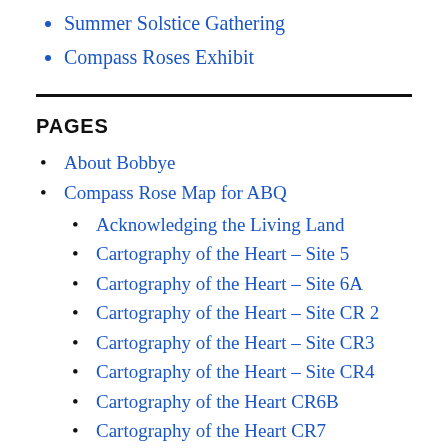Summer Solstice Gathering
Compass Roses Exhibit
PAGES
About Bobbye
Compass Rose Map for ABQ
Acknowledging the Living Land
Cartography of the Heart – Site 5
Cartography of the Heart – Site 6A
Cartography of the Heart – Site CR 2
Cartography of the Heart – Site CR3
Cartography of the Heart – Site CR4
Cartography of the Heart CR6B
Cartography of the Heart CR7...